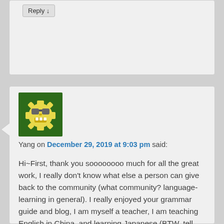Reply ↓
[Figure (illustration): Avatar icon: green background with a yellow gear/cog character wearing sunglasses and showing teeth]
Yang on December 29, 2019 at 9:03 pm said:
Hi~First, thank you soooooooo much for all the great work, I really don't know what else a person can give back to the community (what community? language-learning in general). I really enjoyed your grammar guide and blog, I am myself a teacher, I am teaching English in China, and learning Japanese (BTW, tell you guys, it feels so good to break down a language by your own, just like breaking down a criminal through a long-night hard-sitting interrogation, I mean, I enjoy learning language just like how much I enjoy witnessing justice to be done).